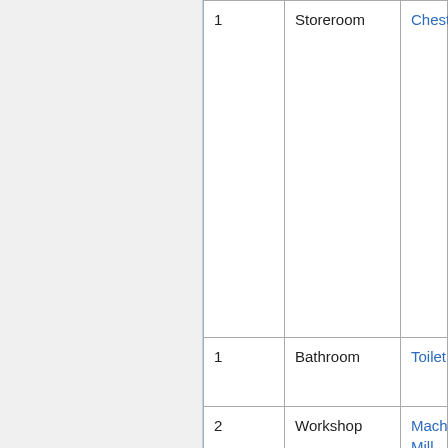| # | Room | Item |
| --- | --- | --- |
| 1 | Storeroom | Chest |
| 1 | Bathroom | Toilet |
| 2 | Workshop | Machining Mill |
| 3 | Laboratory | Chemical Processor |
| 4 | Commissary | Dining Table |